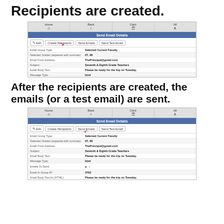Recipients are created.
[Figure (screenshot): Screenshot of Send Email Details screen with Create Recipients button highlighted by red arrow. Fields shown: Email Group Type: Selected Current Faculty, Selected Grades: 07, 08, Email From Address: ThePrincipal@gmail.com, Subject: Seventh & Eighth Grade Teachers, Email Body Text: Please be ready for the trip on Tuesday., Message Type: html]
After the recipients are created, the emails (or a test email) are sent.
[Figure (screenshot): Screenshot of Send Email Details screen with Send Emails button highlighted by red arrow. Fields shown: Email Group Type: Selected Current Faculty, Selected Grades: 07, 08, Email From Address: ThePrincipal@gmail.com, Subject: Seventh & Eighth Grade Teachers, Email Body Text: Please be ready for the trip on Tuesday., Message Type: html, Emails To Send: 4 (with red arrow), Email In Group #?: 3793, Email Body Text As HTML: Please be ready for the trip on Tuesday.]